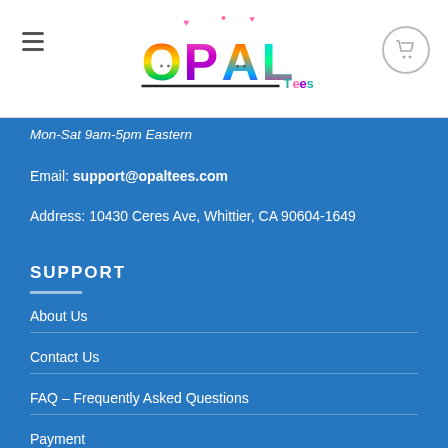OPAL Tees logo with hamburger menu and cart icon
Mon-Sat 9am-5pm Eastern
Email: support@opaltees.com
Address: 10430 Ceres Ave, Whittier, CA 90604-1649
SUPPORT
About Us
Contact Us
FAQ – Frequently Asked Questions
Payment